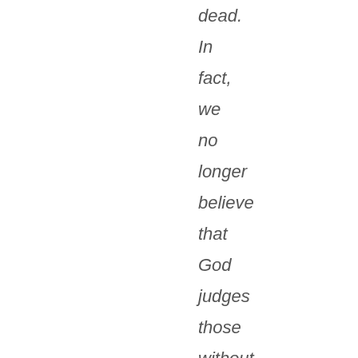dead. In fact, we no longer believe that God judges those without law based on what they “would have done.” Instead, we believe that they are presented with